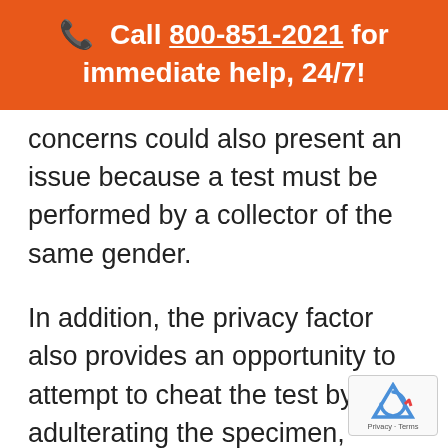📞 Call 800-851-2021 for immediate help, 24/7!
concerns could also present an issue because a test must be performed by a collector of the same gender.
In addition, the privacy factor also provides an opportunity to attempt to cheat the test by adulterating the specimen, which creates a negative dillute or positive dillute drug test result, or substituting the specimen